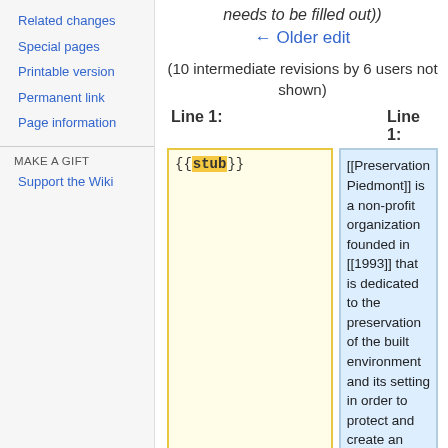Related changes
Special pages
Printable version
Permanent link
Page information
MAKE A GIFT
Support the Wiki
needs to be filled out))
← Older edit
(10 intermediate revisions by 6 users not shown)
Line 1:
Line 1:
{{stub}}
[[Preservation Piedmont]] is a non-profit organization founded in [[1993]] that is dedicated to the preservation of the built environment and its setting in order to protect and create an